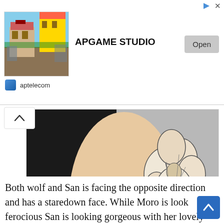[Figure (screenshot): Mobile app advertisement banner for APGAME STUDIO with a game screenshot showing colorful houses, an Open button, and aptelecom domain label]
[Figure (photo): Close-up photo of a tattoo on a person's arm/side showing a Pokeball design with floral botanical elements including flowers and leaves, in fine line black ink style]
Source: batxcat.art
Both wolf and San is facing the opposite direction and has a staredown face. While Moro is looking ferocious San is looking gorgeous with her lovely